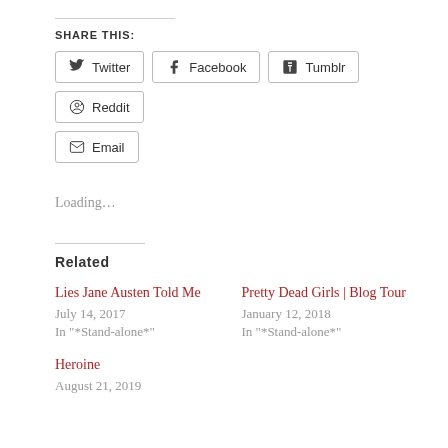SHARE THIS:
Twitter
Facebook
Tumblr
Reddit
Email
Loading…
Related
Lies Jane Austen Told Me
July 14, 2017
In "*Stand-alone*"
Pretty Dead Girls | Blog Tour
January 12, 2018
In "*Stand-alone*"
Heroine
August 21, 2019